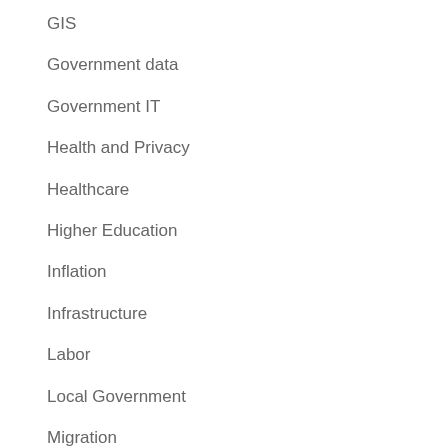GIS
Government data
Government IT
Health and Privacy
Healthcare
Higher Education
Inflation
Infrastructure
Labor
Local Government
Migration
Nonprofit Management
Politics
Ports
Premium